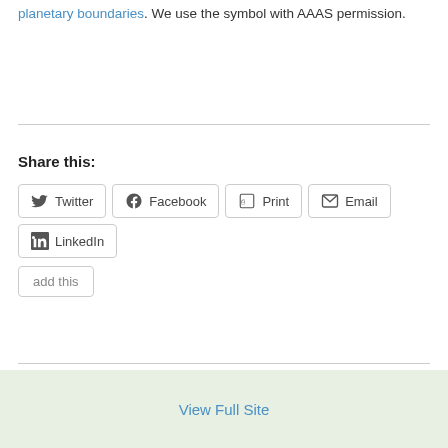planetary boundaries. We use the symbol with AAAS permission.
Share this:
Twitter | Facebook | Print | Email | LinkedIn | add this
View Full Site